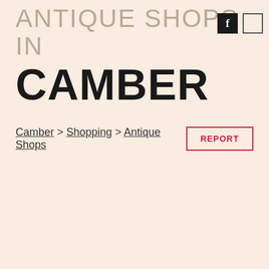ANTIQUE SHOPS IN CAMBER
Camber > Shopping > Antique Shops
REPORT